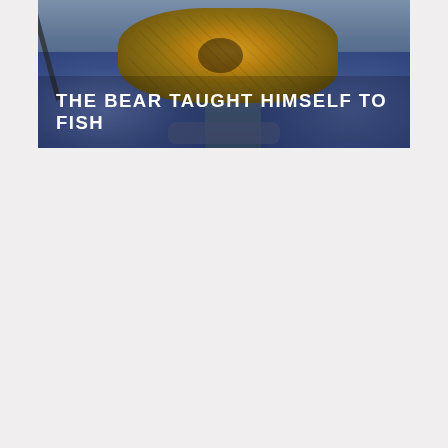[Figure (photo): A person holding up a large fish (appears to be a bass or similar freshwater fish) with both hands. The person is wearing a blue jacket. The background suggests they are on a body of water. The image has a dark, muted tone.]
THE BEAR TAUGHT HIMSELF TO FISH